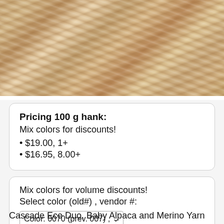[Figure (photo): Close-up photo of twisted yarn skeins in beige, tan, and cream colors — appears to be natural fiber yarn like alpaca or merino wool]
Pricing 100 g hank:
Mix colors for discounts!
• $19.00, 1+
• $16.95, 8.00+
$19.00, 1+
$16.95, 8.00+
Mix colors for volume discounts!
Select color (old#) , vendor #:
Color: 0070 (prev. 007) , ∨
Cascade Eco Duo, Baby Alpaca and Merino Yarn